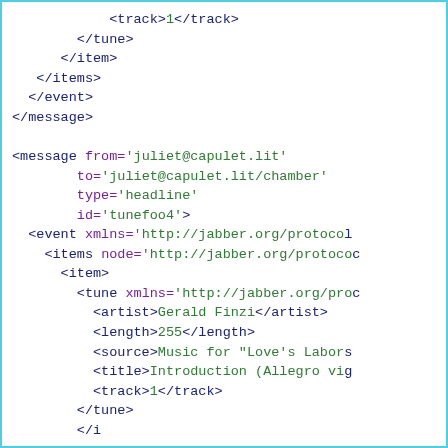XML code snippet showing message elements with tune, artist, length, source, title, track tags